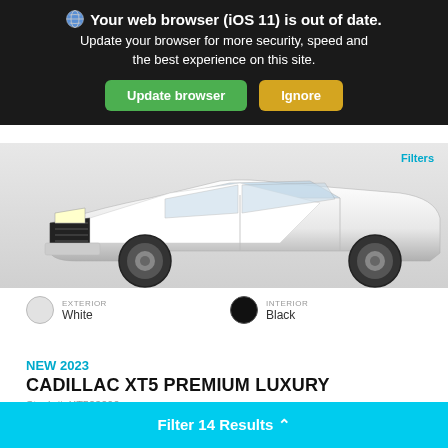Your web browser (iOS 11) is out of date. Update your browser for more security, speed and the best experience on this site.
[Figure (screenshot): Browser update banner with Update browser (green) and Ignore (yellow) buttons]
[Figure (photo): Cadillac XT5 vehicle photo showing front/side angle, white exterior]
Filters
EXTERIOR White
INTERIOR Black
NEW 2023
CADILLAC XT5 PREMIUM LUXURY
Stock #: XT523090
VIN: 1GYKNDRS0PZ119933
Body Style: SUV
Filter 14 Results ^